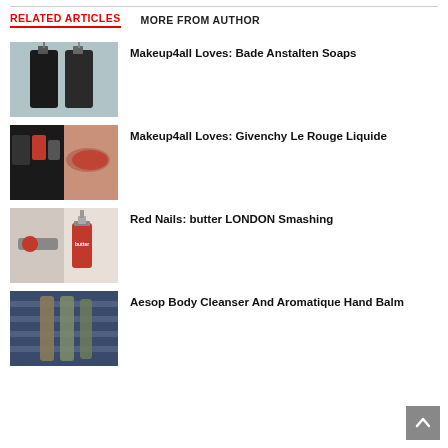RELATED ARTICLES
MORE FROM AUTHOR
Makeup4all Loves: Bade Anstalten Soaps
[Figure (photo): Two dark pump-top soap/lotion bottles on a light background]
Makeup4all Loves: Givenchy Le Rouge Liquide
[Figure (photo): Lipstick product and red swatch collage]
Red Nails: butter LONDON Smashing
[Figure (photo): Red nail polish bottle and brush on light background]
Aesop Body Cleanser And Aromatique Hand Balm
[Figure (photo): Aesop product bottles on striped fabric]